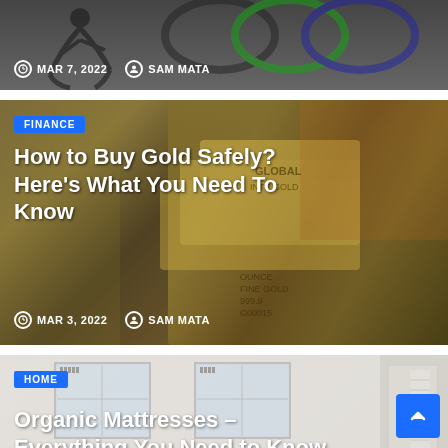[Figure (photo): Partial article card with dark background, showing MAR 7, 2022 and SAM MATA meta info]
MAR 7, 2022   SAM MATA
[Figure (photo): Gold bars and Euro banknotes background for finance article]
FINANCE
How to Buy Gold Safely? Here's What You Need To Know
MAR 3, 2022   SAM MATA
[Figure (photo): Bedroom interior with white walls and windows for home article]
HOME
Organic Mattresses – Everything You Need to Know
MAR 3, 2022   CONSTANCE ROSE